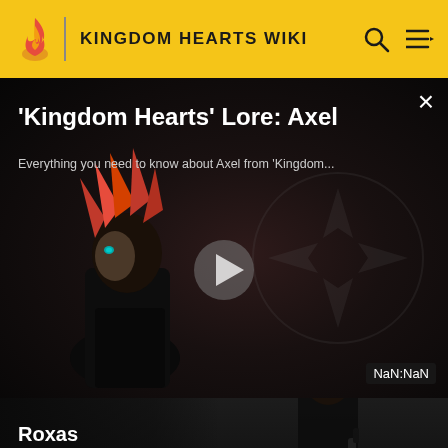KINGDOM HEARTS WIKI
[Figure (screenshot): Video player overlay showing Kingdom Hearts character Axel with red spiky hair against a dark background. Title reads 'Kingdom Hearts' Lore: Axel. Subtitle: Everything you need to know about Axel from 'Kingdom... A play button is visible in the center and a NaN:NaN duration badge appears at the bottom right. A close X button is at the top right.]
'Kingdom Hearts' Lore: Axel
Everything you need to know about Axel from 'Kingdom...
NaN:NaN
[Figure (screenshot): Dark card showing a Kingdom Hearts character (Roxas) in black coat. Card has title Roxas and subtitle Kingdom Hearts Wiki.]
Roxas
Kingdom Hearts Wiki
[Figure (screenshot): Partial view at the bottom of the page showing what appears to be a character or artwork on a light/white background.]